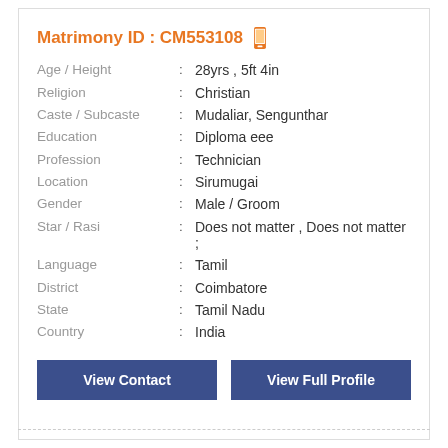Matrimony ID : CM553108
| Field | : | Value |
| --- | --- | --- |
| Age / Height | : | 28yrs , 5ft 4in |
| Religion | : | Christian |
| Caste / Subcaste | : | Mudaliar, Sengunthar |
| Education | : | Diploma eee |
| Profession | : | Technician |
| Location | : | Sirumugai |
| Gender | : | Male / Groom |
| Star / Rasi | : | Does not matter , Does not matter ; |
| Language | : | Tamil |
| District | : | Coimbatore |
| State | : | Tamil Nadu |
| Country | : | India |
View Contact
View Full Profile